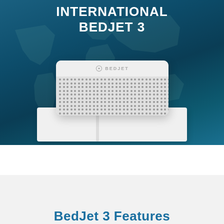[Figure (photo): Product photo of the International BedJet 3 device — a white rectangular air climate control unit with a perforated grille front, sitting on a white pedestal/box. The background is a teal/blue gradient with a world map watermark overlay. Text 'INTERNATIONAL BEDJET 3' appears at the top in bold white uppercase letters.]
BedJet 3 Features